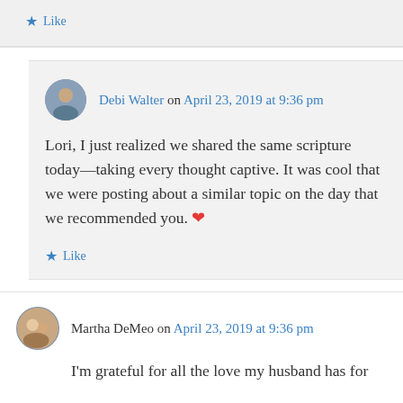Like
Debi Walter on April 23, 2019 at 9:36 pm
Lori, I just realized we shared the same scripture today—taking every thought captive. It was cool that we were posting about a similar topic on the day that we recommended you. ❤
Like
Martha DeMeo on April 23, 2019 at 9:36 pm
I'm grateful for all the love my husband has for